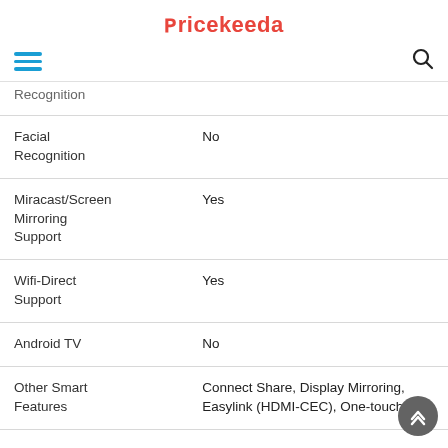Pricekeeda
| Feature | Value |
| --- | --- |
| Recognition |  |
| Facial Recognition | No |
| Miracast/Screen Mirroring Support | Yes |
| Wifi-Direct Support | Yes |
| Android TV | No |
| Other Smart Features | Connect Share, Display Mirroring, Easylink (HDMI-CEC), One-touch |